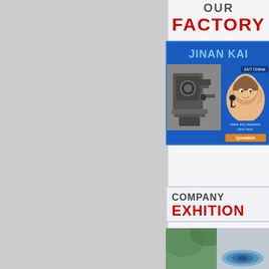OUR FACTORY
[Figure (screenshot): Jinan Kaid company factory card with blue background, machine photo, customer service agent with headset, 24/7 Online badge, quotation button]
COMPANY EXHITION
[Figure (photo): Bottom image showing green foliage and blue cylindrical contact element with 'contact' text overlay]